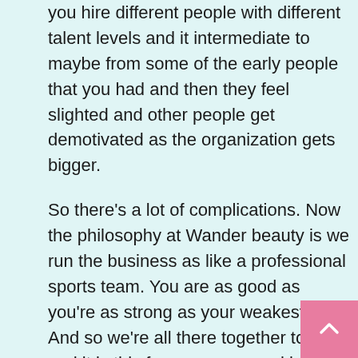you hire different people with different talent levels and it intermediate to maybe from some of the early people that you had and then they feel slighted and other people get demotivated as the organization gets bigger.
So there's a lot of complications. Now the philosophy at Wander beauty is we run the business as like a professional sports team. You are as good as you're as strong as your weakest link. And so we're all there together to win and it is this focus on personal best. It's what can you do to move everything forward and to really build and to create and to innovate. And so are you focused on your personal best? It's not a measure of this one versus the oth